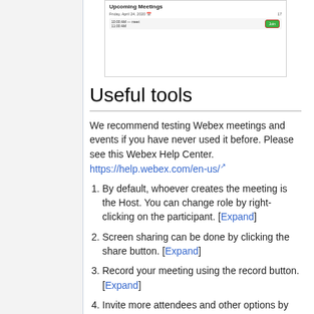[Figure (screenshot): Screenshot of Webex Upcoming Meetings panel showing a meeting entry with a green Join button highlighted with a red border]
Useful tools
We recommend testing Webex meetings and events if you have never used it before. Please see this Webex Help Center. https://help.webex.com/en-us/
By default, whoever creates the meeting is the Host. You can change role by right-clicking on the participant. [Expand]
Screen sharing can be done by clicking the share button. [Expand]
Record your meeting using the record button. [Expand]
Invite more attendees and other options by clicking the 3 vertical